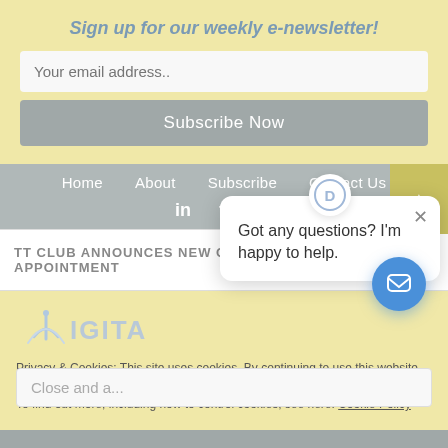Sign up for our weekly e-newsletter!
Your email address..
Subscribe Now
Home   About   Subscribe   Contact Us
[Figure (other): Social media icons: LinkedIn, Facebook, Instagram]
TT CLUB ANNOUNCES NEW CFO APPOINTMENT
POWER GRID
[Figure (logo): Partial logo with arc/signal graphic and text IGITA]
Privacy & Cookies: This site uses cookies. By continuing to use this website, you agree to their use. To find out more, including how to control cookies, see here: Cookie Policy
Got any questions? I'm happy to help.
Close and a...